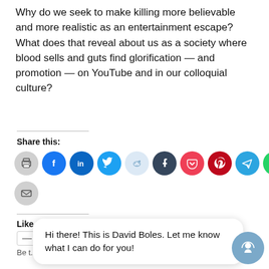Why do we seek to make killing more believable and more realistic as an entertainment escape?  What does that reveal about us as a society where blood sells and guts find glorification — and promotion — on YouTube and in our colloquial culture?
Share this:
[Figure (infographic): Row of social media sharing icon circles: print (gray), Facebook (blue), LinkedIn (blue), Twitter (cyan), Reddit (light blue), Tumblr (dark navy), Pocket (red), Pinterest (dark red), Telegram (blue), WhatsApp (green), Skype (cyan); second row: email (gray)]
Like this:
[Figure (screenshot): Like button widget with minus icon and number, plus 'Be the first to like this' text]
[Figure (infographic): Chat bubble popup: 'Hi there! This is David Boles. Let me know what I can do for you!' with a messenger avatar icon on the right]